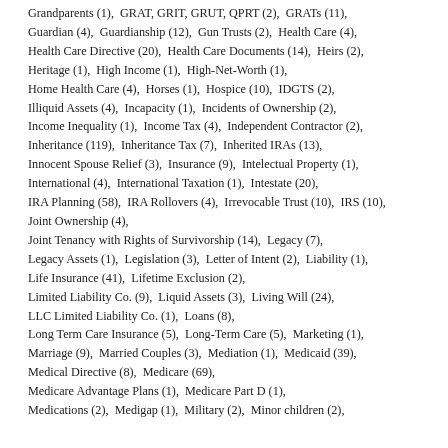Grandparents (1),  GRAT, GRIT, GRUT, QPRT (2),  GRATs (11),  Guardian (4),  Guardianship (12),  Gun Trusts (2),  Health Care (4),  Health Care Directive (20),  Health Care Documents (14),  Heirs (2),  Heritage (1),  High Income (1),  High-Net-Worth (1),  Home Health Care (4),  Horses (1),  Hospice (10),  IDGTS (2),  Illiquid Assets (4),  Incapacity (1),  Incidents of Ownership (2),  Income Inequality (1),  Income Tax (4),  Independent Contractor (2),  Inheritance (119),  Inheritance Tax (7),  Inherited IRAs (13),  Innocent Spouse Relief (3),  Insurance (9),  Intelectual Property (1),  International (4),  International Taxation (1),  Intestate (20),  IRA Planning (58),  IRA Rollovers (4),  Irrevocable Trust (10),  IRS (10),  Joint Ownership (4),  Joint Tenancy with Rights of Survivorship (14),  Legacy (7),  Legacy Assets (1),  Legislation (3),  Letter of Intent (2),  Liability (1),  Life Insurance (41),  Lifetime Exclusion (2),  Limited Liability Co. (9),  Liquid Assets (3),  Living Will (24),  LLC Limited Liability Co. (1),  Loans (8),  Long Term Care Insurance (5),  Long-Term Care (5),  Marketing (1),  Marriage (9),  Married Couples (3),  Mediation (1),  Medicaid (39),  Medical Directive (8),  Medicare (69),  Medicare Advantage Plans (1),  Medicare Part D (1),  Medications (2),  Medigap (1),  Military (2),  Minor children (2),